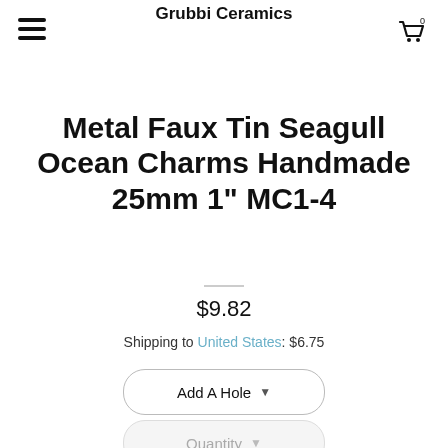Grubbi Ceramics
Metal Faux Tin Seagull Ocean Charms Handmade 25mm 1" MC1-4
$9.82
Shipping to United States: $6.75
Add A Hole
Quantity